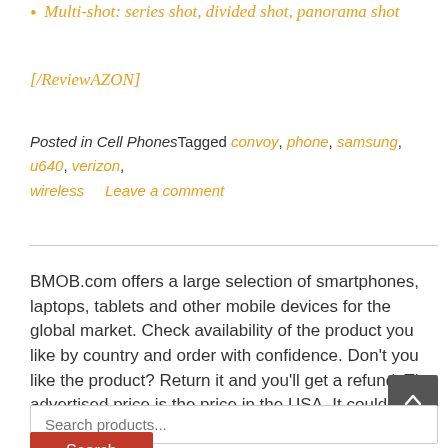Multi-shot: series shot, divided shot, panorama shot
[/ReviewAZON]
Posted in Cell Phones Tagged convoy, phone, samsung, u640, verizon, wireless     Leave a comment
BMOB.com offers a large selection of smartphones, laptops, tablets and other mobile devices for the global market. Check availability of the product you like by country and order with confidence. Don't you like the product? Return it and you'll get a refund. The advertised price is the price in the USA. It could be different in your own country.